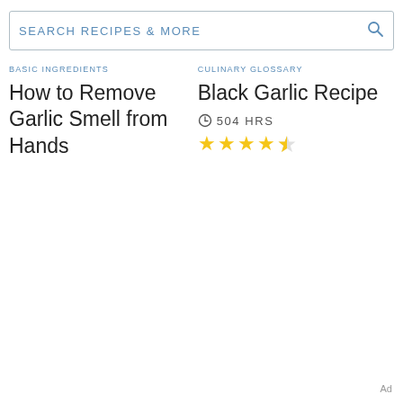[Figure (screenshot): Search bar with text 'SEARCH RECIPES & MORE' and a magnifying glass icon on the right]
BASIC INGREDIENTS
How to Remove Garlic Smell from Hands
CULINARY GLOSSARY
Black Garlic Recipe
504 HRS
[Figure (other): 4.5 star rating shown with yellow stars]
Ad